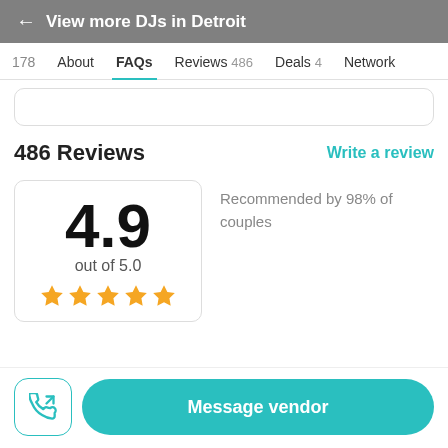← View more DJs in Detroit
178  About  FAQs  Reviews 486  Deals 4  Network
486 Reviews
Write a review
4.9
out of 5.0
★★★★★
Recommended by 98% of couples
Message vendor